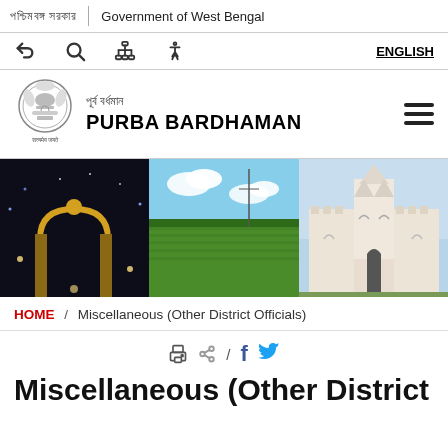পশ্চিমবঙ্গ সরকার | Government of West Bengal
↩ 🔍 🏛 ♿ ENGLISH
পূর্ব বর্ধমান PURBA BARDHAMAN
[Figure (photo): Three-panel hero image: illuminated arch monument at night, green paddy fields, and ornate white temple building]
HOME / Miscellaneous (Other District Officials)
[Figure (infographic): Share icons: print, share, slash, Facebook, Twitter]
Miscellaneous (Other District Officials)